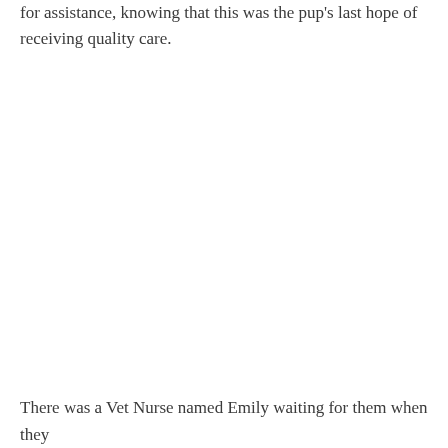for assistance, knowing that this was the pup's last hope of receiving quality care.
There was a Vet Nurse named Emily waiting for them when they